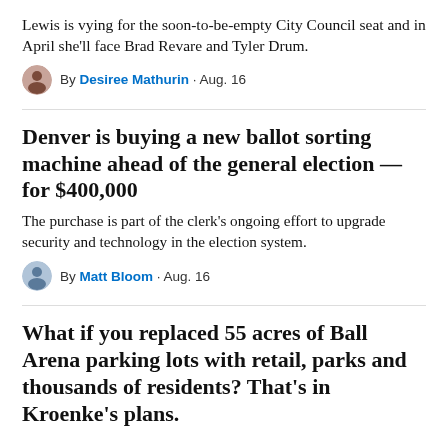Lewis is vying for the soon-to-be-empty City Council seat and in April she'll face Brad Revare and Tyler Drum.
By Desiree Mathurin · Aug. 16
Denver is buying a new ballot sorting machine ahead of the general election — for $400,000
The purchase is part of the clerk's ongoing effort to upgrade security and technology in the election system.
By Matt Bloom · Aug. 16
What if you replaced 55 acres of Ball Arena parking lots with retail, parks and thousands of residents? That's in Kroenke's plans.